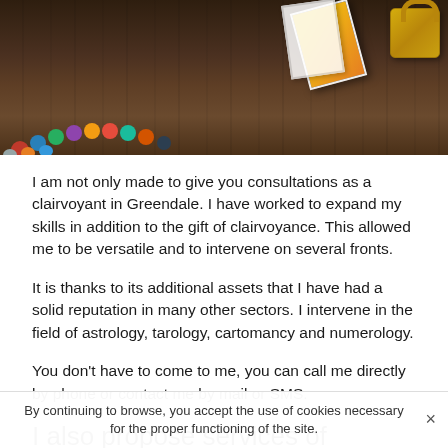[Figure (photo): Photo of divination/clairvoyance items on a wooden table: colorful beaded bracelet on left, tarot/playing cards in upper center-right area (yellow/orange card visible), and a gold metallic lock or dice in upper right corner. Dark wood grain background.]
I am not only made to give you consultations as a clairvoyant in Greendale. I have worked to expand my skills in addition to the gift of clairvoyance. This allowed me to be versatile and to intervene on several fronts.
It is thanks to its additional assets that I have had a solid reputation in many other sectors. I intervene in the field of astrology, tarology, cartomancy and numerology.
You don't have to come to me, you can call me directly by phone or contact me by mail or SMS.
I also propose services of clairvoyance in Greendale...
By continuing to browse, you accept the use of cookies necessary for the proper functioning of the site.